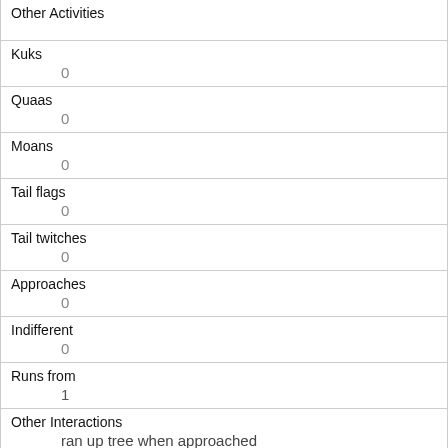| Other Activities |  |
| Kuks | 0 |
| Quaas | 0 |
| Moans | 0 |
| Tail flags | 0 |
| Tail twitches | 0 |
| Approaches | 0 |
| Indifferent | 0 |
| Runs from | 1 |
| Other Interactions | ran up tree when approached |
| Lat/Long |  |